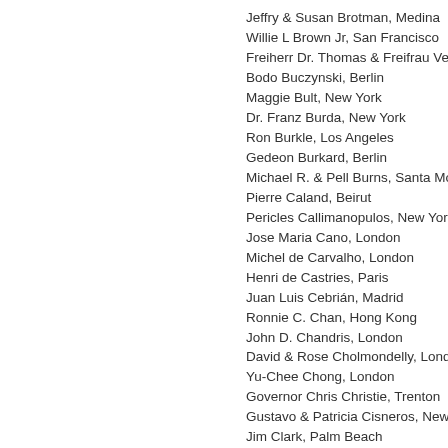Jeffry & Susan Brotman, Medina
Willie L Brown Jr, San Francisco
Freiherr Dr. Thomas & Freifrau Veroniq
Bodo Buczynski, Berlin
Maggie Bult, New York
Dr. Franz Burda, New York
Ron Burkle, Los Angeles
Gedeon Burkard, Berlin
Michael R. & Pell Burns, Santa Monica
Pierre Caland, Beirut
Pericles Callimanopulos, New York
Jose Maria Cano, London
Michel de Carvalho, London
Henri de Castries, Paris
Juan Luis Cebrián, Madrid
Ronnie C. Chan, Hong Kong
John D. Chandris, London
David & Rose Cholmondelly, London
Yu-Chee Chong, London
Governor Chris Christie, Trenton
Gustavo & Patricia Cisneros, New York
Jim Clark, Palm Beach